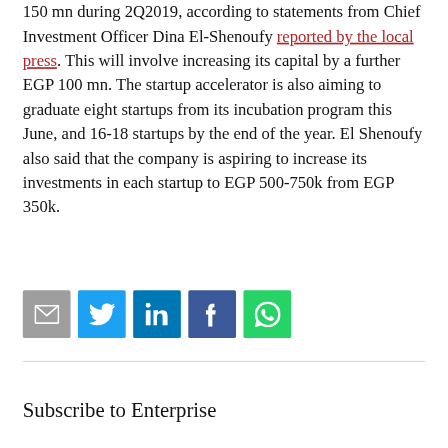150 mn during 2Q2019, according to statements from Chief Investment Officer Dina El-Shenoufy reported by the local press. This will involve increasing its capital by a further EGP 100 mn. The startup accelerator is also aiming to graduate eight startups from its incubation program this June, and 16-18 startups by the end of the year. El Shenoufy also said that the company is aspiring to increase its investments in each startup to EGP 500-750k from EGP 350k.
[Figure (infographic): Social sharing icons: email (grey), Twitter (blue), LinkedIn (dark blue), Facebook (dark blue), WhatsApp (green)]
Subscribe to Enterprise